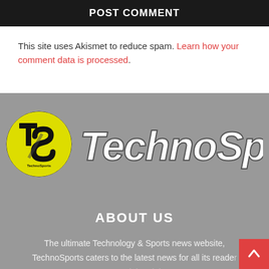POST COMMENT
This site uses Akismet to reduce spam. Learn how your comment data is processed.
[Figure (logo): TechnoSports logo: yellow circle with TS initials and 'TechnoSports' text in white stylized font on gray background]
ABOUT US
The ultimate Technology & Sports news website, TechnoSports caters to the latest news for all its readers around the globe.